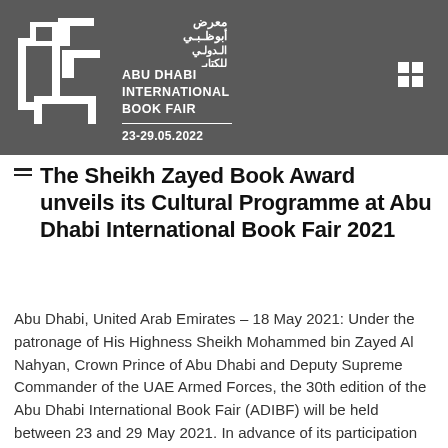[Figure (logo): Abu Dhabi International Book Fair logo with Arabic text and geometric icon, dates 23-29.05.2022]
The Sheikh Zayed Book Award unveils its Cultural Programme at Abu Dhabi International Book Fair 2021
Abu Dhabi, United Arab Emirates – 18 May 2021: Under the patronage of His Highness Sheikh Mohammed bin Zayed Al Nahyan, Crown Prince of Abu Dhabi and Deputy Supreme Commander of the UAE Armed Forces, the 30th edition of the Abu Dhabi International Book Fair (ADIBF) will be held between 23 and 29 May 2021. In advance of its participation at ADIBF, the Sheikh Zayed Book Award (SZBA) has revealed its